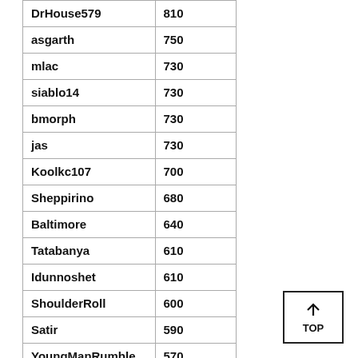| DrHouse579 | 810 |
| asgarth | 750 |
| mlac | 730 |
| siablo14 | 730 |
| bmorph | 730 |
| jas | 730 |
| Koolkc107 | 700 |
| Sheppirino | 680 |
| Baltimore | 640 |
| Tatabanya | 610 |
| Idunnoshet | 610 |
| ShoulderRoll | 600 |
| Satir | 590 |
| YoungManRumble | 570 |
| Big744 | 570 |